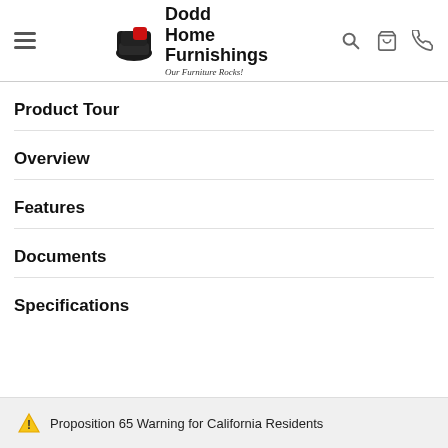Dodd Home Furnishings — Our Furniture Rocks!
Product Tour
Overview
Features
Documents
Specifications
⚠ Proposition 65 Warning for California Residents